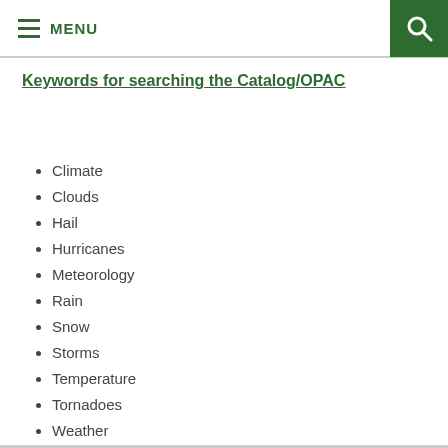MENU
Keywords for searching the Catalog/OPAC
Climate
Clouds
Hail
Hurricanes
Meteorology
Rain
Snow
Storms
Temperature
Tornadoes
Weather
Weather forecasting
Wind